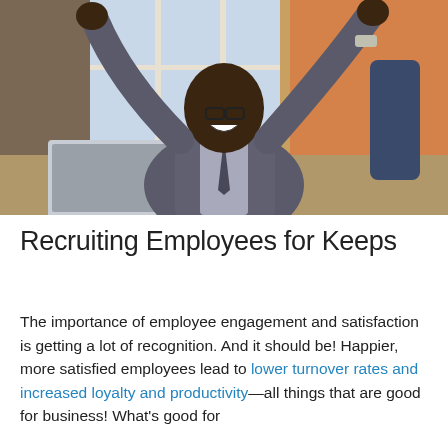[Figure (photo): A jubilant Black businessman in a grey suit with arms raised in celebration, sitting at a desk with a laptop, in a bright office with orange wall in the background.]
Recruiting Employees for Keeps
The importance of employee engagement and satisfaction is getting a lot of recognition. And it should be! Happier, more satisfied employees lead to lower turnover rates and increased loyalty and productivity—all things that are good for business! What's good for